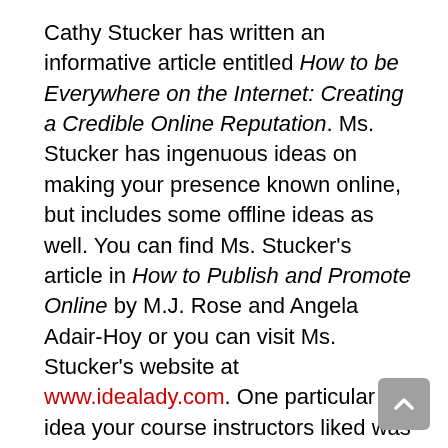Cathy Stucker has written an informative article entitled How to be Everywhere on the Internet: Creating a Credible Online Reputation. Ms. Stucker has ingenuous ideas on making your presence known online, but includes some offline ideas as well. You can find Ms. Stucker's article in How to Publish and Promote Online by M.J. Rose and Angela Adair-Hoy or you can visit Ms. Stucker's website at www.idealady.com. One particular idea your course instructors liked was creating your own holiday. Read the article for full details and then try it yourself.
A high-end way of promoting your company is by direct mail advertising or e-mail promotion. We say high-end because renting the lists (those individuals interested in the type of books you publish) can be expensive and the